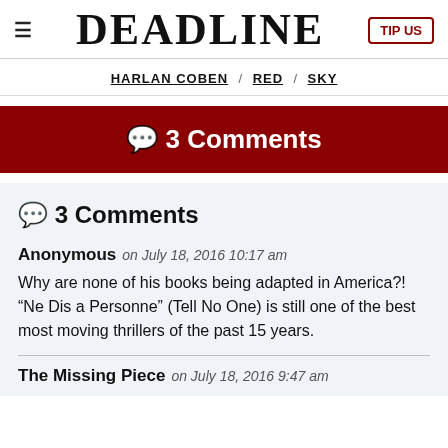DEADLINE
HARLAN COBEN / RED / SKY
💬 3 Comments
💬 3 Comments
Anonymous on July 18, 2016 10:17 am
Why are none of his books being adapted in America?! “Ne Dis a Personne” (Tell No One) is still one of the best most moving thrillers of the past 15 years.
The Missing Piece on July 18, 2016 9:47 am